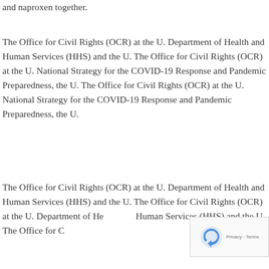and naproxen together.
The Office for Civil Rights (OCR) at the U. Department of Health and Human Services (HHS) and the U. The Office for Civil Rights (OCR) at the U. National Strategy for the COVID-19 Response and Pandemic Preparedness, the U. The Office for Civil Rights (OCR) at the U. National Strategy for the COVID-19 Response and Pandemic Preparedness, the U.
The Office for Civil Rights (OCR) at the U. Department of Health and Human Services (HHS) and the U. The Office for Civil Rights (OCR) at the U. Department of Health and Human Services (HHS) and the U. The Office for Civil